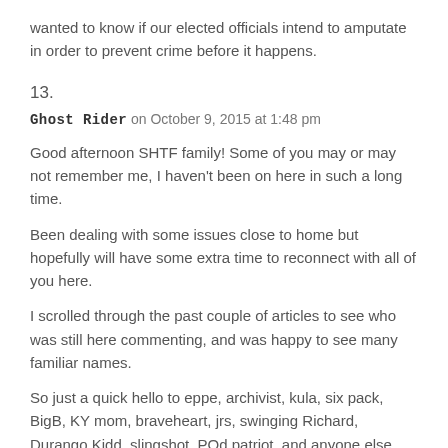wanted to know if our elected officials intend to amputate in order to prevent crime before it happens.
13.
Ghost Rider on October 9, 2015 at 1:48 pm
Good afternoon SHTF family! Some of you may or may not remember me, I haven't been on here in such a long time.
Been dealing with some issues close to home but hopefully will have some extra time to reconnect with all of you here.
I scrolled through the past couple of articles to see who was still here commenting, and was happy to see many familiar names.
So just a quick hello to eppe, archivist, kula, six pack, BigB, KY mom, braveheart, jrs, swinging Richard, Durango Kidd, slingshot, POd patriot, and anyone else